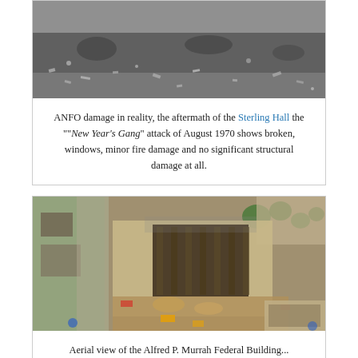[Figure (photo): Black and white aerial or ground-level photograph showing ANFO explosion damage aftermath at Sterling Hall, with debris scattered across the ground.]
ANFO damage in reality, the aftermath of the Sterling Hall the ""New Year's Gang" attack of August 1970 shows broken, windows, minor fire damage and no significant structural damage at all.
[Figure (photo): Color aerial photograph showing the Alfred P. Murrah Federal Building after the 1995 Oklahoma City bombing, with visible structural damage, debris, and emergency response vehicles surrounding the building.]
Aerial view of the Alfred P. Murrah Federal Building...